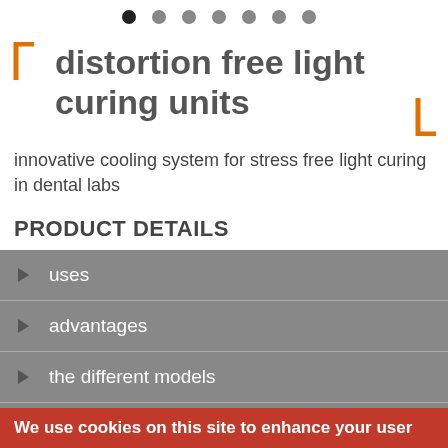[Figure (other): Navigation dots row at top of page]
distortion free light curing units
innovative cooling system for stress free light curing in dental labs
PRODUCT DETAILS
uses
advantages
the different models
product pictures
We use cookies on this site to enhance your user